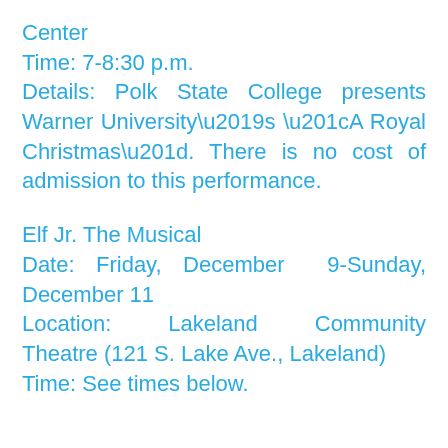Center
Time: 7-8:30 p.m.
Details: Polk State College presents Warner University’s “A Royal Christmas”. There is no cost of admission to this performance.
Elf Jr. The Musical
Date: Friday, December 9-Sunday, December 11
Location: Lakeland Community Theatre (121 S. Lake Ave., Lakeland)
Time: See times below.